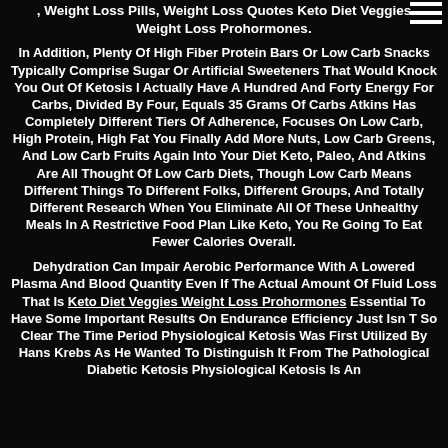, Weight Loss Pills, Weight Loss Quotes Keto Diet Veggies Weight Loss Prohormones.
In Addition, Plenty Of High Fiber Protein Bars Or Low Carb Snacks Typically Comprise Sugar Or Artificial Sweeteners That Would Knock You Out Of Ketosis I Actually Have A Hundred And Forty Energy For Carbs, Divided By Four, Equals 35 Grams Of Carbs Atkins Has Completely Different Tiers Of Adherence, Focuses On Low Carb, High Protein, High Fat You Finally Add More Nuts, Low Carb Greens, And Low Carb Fruits Again Into Your Diet Keto, Paleo, And Atkins Are All Thought Of Low Carb Diets, Though Low Carb Means Different Things To Different Folks, Different Groups, And Totally Different Research When You Eliminate All Of These Unhealthy Meals In A Restrictive Food Plan Like Keto, You Re Going To Eat Fewer Calories Overall.
Dehydration Can Impair Aerobic Performance With A Lowered Plasma And Blood Quantity Even If The Actual Amount Of Fluid Loss That Is Keto Diet Veggies Weight Loss Prohormones Essential To Have Some Important Results On Endurance Efficiency Just Isn T So Clear The Time Period Physiological Ketosis Was First Utilized By Hans Krebs As He Wanted To Distinguish It From The Pathological Diabetic Ketosis Physiological Ketosis Is An